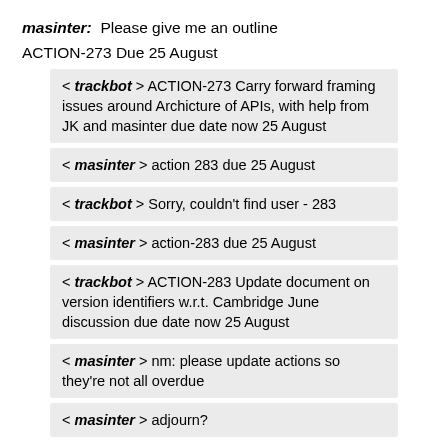masinter: Please give me an outline
ACTION-273 Due 25 August
< trackbot > ACTION-273 Carry forward framing issues around Archicture of APIs, with help from JK and masinter due date now 25 August
< masinter > action 283 due 25 August
< trackbot > Sorry, couldn't find user - 283
< masinter > action-283 due 25 August
< trackbot > ACTION-283 Update document on version identifiers w.r.t. Cambridge June discussion due date now 25 August
< masinter > nm: please update actions so they're not all overdue
< masinter > adjourn?
NM: We are adjourned